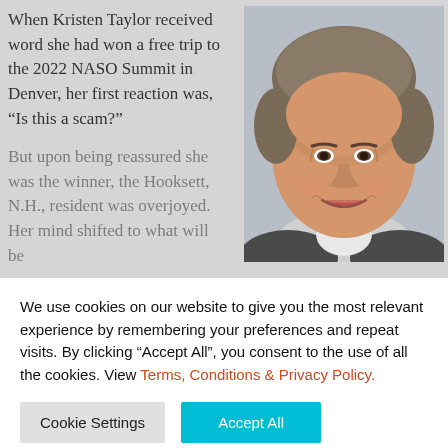When Kristen Taylor received word she had won a free trip to the 2022 NASO Summit in Denver, her first reaction was, “Is this a scam?”
But upon being reassured she was the winner, the Hooksett, N.H., resident was overjoyed. Her mind shifted to what will be
[Figure (photo): Headshot photo of a smiling middle-aged woman with short gray-brown hair, wearing a dark jacket and white shirt]
We use cookies on our website to give you the most relevant experience by remembering your preferences and repeat visits. By clicking “Accept All”, you consent to the use of all the cookies. View Terms, Conditions & Privacy Policy.